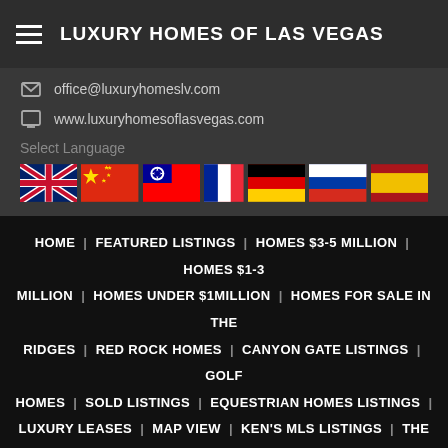LUXURY HOMES OF LAS VEGAS
office@luxuryhomeslv.com
www.luxuryhomesoflasvegas.com
Select Language
[Figure (illustration): Row of country flags: UK, China, Taiwan, France, Germany, Russia, Spain]
HOME | FEATURED LISTINGS | HOMES $3-5 MILLION | HOMES $1-3 MILLION | HOMES UNDER $1MILLION | HOMES FOR SALE IN THE RIDGES | RED ROCK HOMES | CANYON GATE LISTINGS | GOLF HOMES | SOLD LISTINGS | EQUESTRIAN HOMES LISTINGS | LUXURY LEASES | MAP VIEW | KEN'S MLS LISTINGS | THE RIDGES LAS VEGAS | RED ROCK COUNTRY CLUB ESTATE | CANYON GATE COUNTRY CLUB | GOLF COURSE COMMUNITIES | EQUESTR...